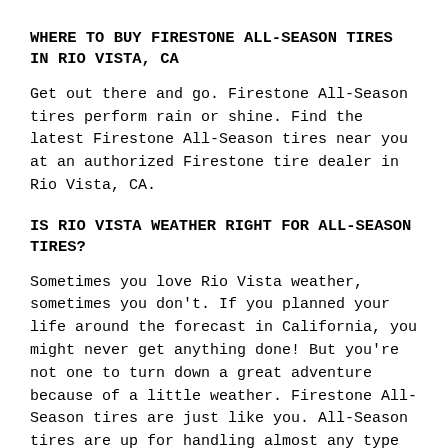WHERE TO BUY FIRESTONE ALL-SEASON TIRES IN RIO VISTA, CA
Get out there and go. Firestone All-Season tires perform rain or shine. Find the latest Firestone All-Season tires near you at an authorized Firestone tire dealer in Rio Vista, CA.
IS RIO VISTA WEATHER RIGHT FOR ALL-SEASON TIRES?
Sometimes you love Rio Vista weather, sometimes you don't. If you planned your life around the forecast in California, you might never get anything done! But you're not one to turn down a great adventure because of a little weather. Firestone All-Season tires are just like you. All-Season tires are up for handling almost any type of mild weather condition. They're made to be versatile, so you can trust that your tires will work well from season to season. How do they do it? Generally speaking, All-Season tire tread has defined slits and grooves that support consistent on wet, dry and lightly snow-covered